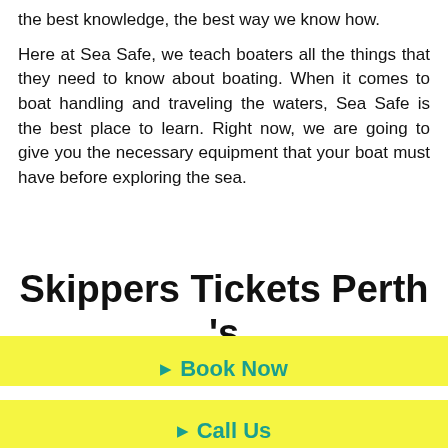the best knowledge, the best way we know how.
Here at Sea Safe, we teach boaters all the things that they need to know about boating. When it comes to boat handling and traveling the waters, Sea Safe is the best place to learn. Right now, we are going to give you the necessary equipment that your boat must have before exploring the sea.
Skippers Tickets Perth 's Boating Equipment
Safety Req...
Book Now
Gift Voucher
Call Us